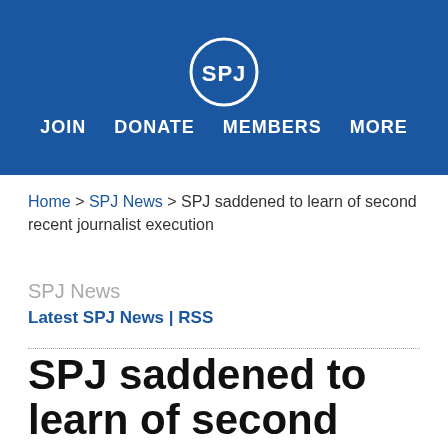[Figure (logo): SPJ (Society of Professional Journalists) logo — white circular emblem with SPJ text on dark blue background header]
JOIN  DONATE  MEMBERS  MORE
Home > SPJ News > SPJ saddened to learn of second recent journalist execution
SPJ News
Latest SPJ News | RSS
SPJ saddened to learn of second recent journalist